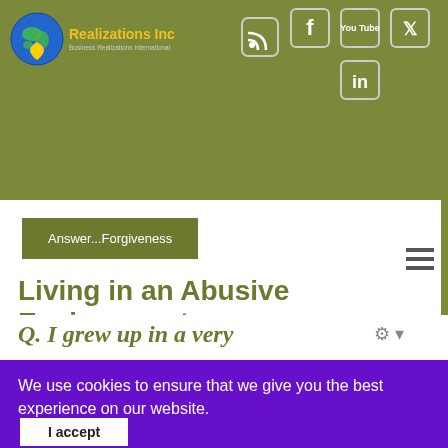[Figure (logo): Realizations Inc logo with globe/heart icon in blue and yellow, text 'Realizations Inc' in yellow and subtitle 'Business Realizations International' in gray]
[Figure (infographic): Social media icons: RSS feed, Facebook, YouTube, Twitter, LinkedIn — white icons on olive/khaki background]
Answer...Forgiveness
Living in an Abusive Environment
Q. I grew up in a very
We use cookies to ensure that we give you the best experience on our website.
I accept